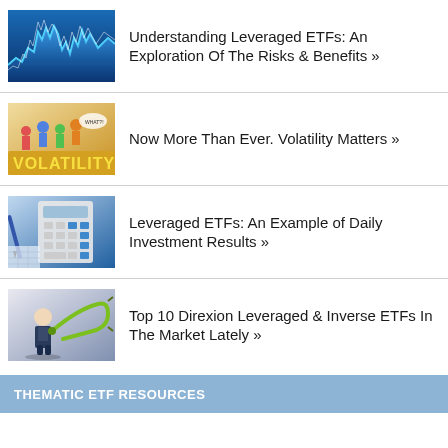[Figure (photo): Stock market chart with blue financial graph lines on dark blue background]
Understanding Leveraged ETFs: An Exploration Of The Risks & Benefits »
[Figure (illustration): Colorful cartoon illustration with crowd of people and large yellow VOLATILITY text]
Now More Than Ever. Volatility Matters »
[Figure (photo): Calculator and financial spreadsheet documents, blue tones]
Leveraged ETFs: An Example of Daily Investment Results »
[Figure (photo): Man in suit being stretched by large rubber band, metaphor for leverage]
Top 10 Direxion Leveraged & Inverse ETFs In The Market Lately »
THEMATIC ETF RESOURCES